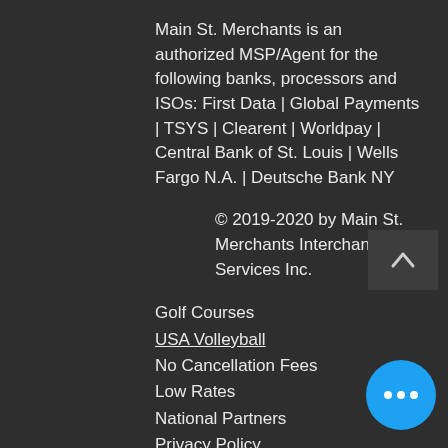Main St. Merchants is an authorized MSP/Agent for the following banks, processors and ISOs: First Data | Global Payments | TSYS | Clearent | Worldpay | Central Bank of St. Louis | Wells Fargo N.A. | Deutsche Bank NY
© 2019-2020 by Main St. Merchants Interchange Services Inc.
Golf Courses
USA Volleyball
No Cancellation Fees
Low Rates
National Partners
Privacy Policy
FAQs
Follow us